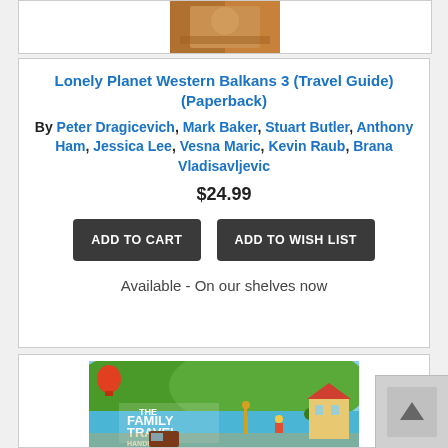[Figure (photo): Partial view of a book cover at top of page]
Lonely Planet Western Balkans 3 (Travel Guide) (Paperback)
By Peter Dragicevich, Mark Baker, Stuart Butler, Anthony Ham, Jessica Lee, Vesna Maric, Kevin Raub, Brana Vladisavljevic
$24.99
ADD TO CART
ADD TO WISH LIST
Available - On our shelves now
[Figure (photo): Cover of The Family Travel Handbook by Lonely Planet, illustrated colorful book cover showing beach and travel scenes]